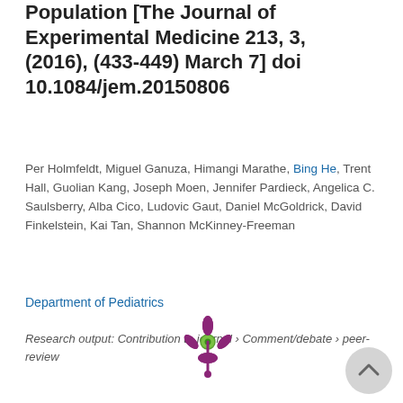Population [The Journal of Experimental Medicine 213, 3, (2016), (433-449) March 7] doi 10.1084/jem.20150806
Per Holmfeldt, Miguel Ganuza, Himangi Marathe, Bing He, Trent Hall, Guolian Kang, Joseph Moen, Jennifer Pardieck, Angelica C. Saulsberry, Alba Cico, Ludovic Gaut, Daniel McGoldrick, David Finkelstein, Kai Tan, Shannon McKinney-Freeman
Department of Pediatrics
Research output: Contribution to journal › Comment/debate › peer-review
[Figure (logo): Altmetric flower logo with green dot and purple petals, and a circular scroll-to-top button]